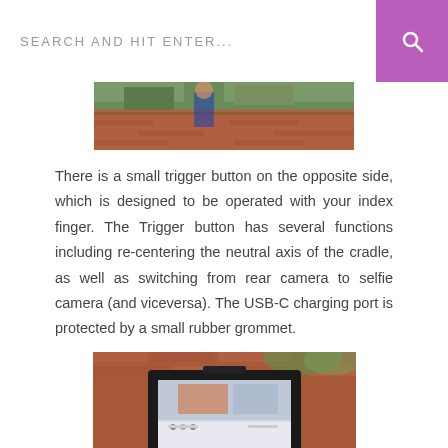SEARCH AND HIT ENTER...
[Figure (photo): Top portion of an outdoor photo showing brick wall and greenery, partially cropped]
There is a small trigger button on the opposite side, which is designed to be operated with your index finger. The Trigger button has several functions including re-centering the neutral axis of the cradle, as well as switching from rear camera to selfie camera (and viceversa). The USB-C charging port is protected by a small rubber grommet.
[Figure (photo): Photo of a smartphone mounted in a gimbal cradle, shown outdoors against a brick wall background]